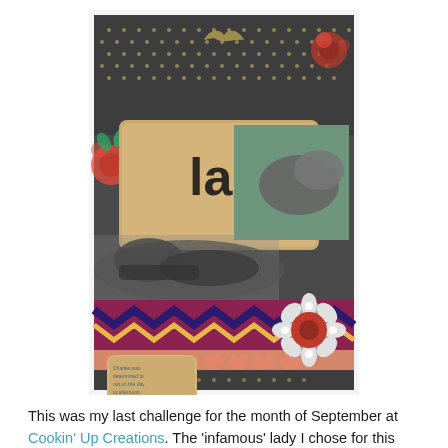[Figure (photo): A scrapbook page featuring a gray cat lying on colorful patterned fabric. The word 'lazy' is displayed prominently in large black text on a tan/kraft paper background. The page has decorative patterned paper borders in dark gray with gold dots and red floral elements. A decorative flower embellishment is in the lower right. A handwritten journaling tag is in the lower left corner.]
This was my last challenge for the month of September at Cookin' Up Creations. The 'infamous' lady I chose for this Friday was Cruella DeVille. I challenged everyone to use